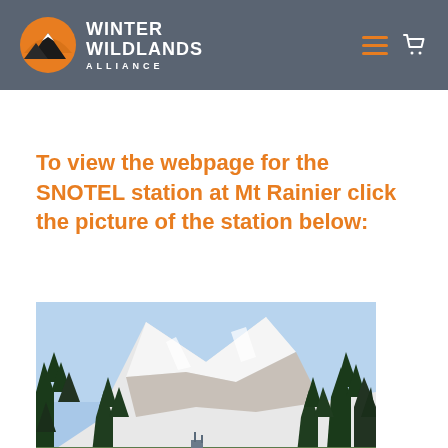Winter Wildlands Alliance
To view the webpage for the SNOTEL station at Mt Rainier click the picture of the station below:
[Figure (photo): Photograph of Mt Rainier with snow-covered peak surrounded by evergreen trees, with a SNOTEL station visible at the base of the trees in front of the mountain]